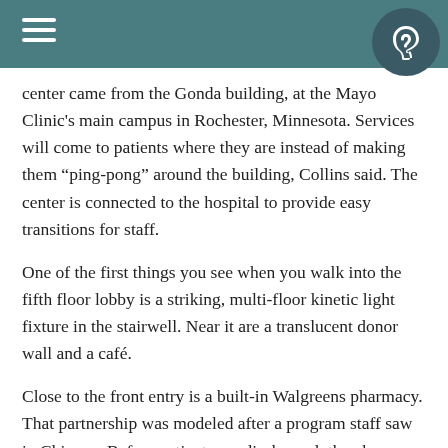center came from the Gonda building, at the Mayo Clinic's main campus in Rochester, Minnesota. Services will come to patients where they are instead of making them “ping-pong” around the building, Collins said. The center is connected to the hospital to provide easy transitions for staff.
One of the first things you see when you walk into the fifth floor lobby is a striking, multi-floor kinetic light fixture in the stairwell. Near it are a translucent donor wall and a café.
Close to the front entry is a built-in Walgreens pharmacy. That partnership was modeled after a program staff saw in Chicago. Before patients are discharged, the pharmacy sends prescriptions to the room using a pneumatic tube. A pharmacy tech will explain the medication and answer questions.